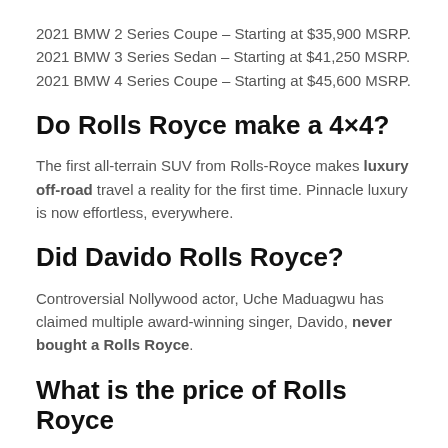2021 BMW 2 Series Coupe – Starting at $35,900 MSRP. 2021 BMW 3 Series Sedan – Starting at $41,250 MSRP. 2021 BMW 4 Series Coupe – Starting at $45,600 MSRP.
Do Rolls Royce make a 4×4?
The first all-terrain SUV from Rolls-Royce makes luxury off-road travel a reality for the first time. Pinnacle luxury is now effortless, everywhere.
Did Davido Rolls Royce?
Controversial Nollywood actor, Uche Maduagwu has claimed multiple award-winning singer, Davido, never bought a Rolls Royce.
What is the price of Rolls Royce